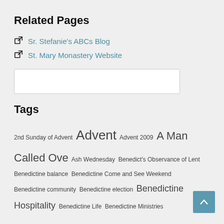Related Pages
Sr. Stefanie's ABCs Blog
St. Mary Monastery Website
Tags
2nd Sunday of Advent Advent Advent 2009 A Man Called Ove Ash Wednesday Benedict's Observance of Lent Benedictine balance Benedictine Come and See Weekend Benedictine community Benedictine election Benedictine Hospitality Benedictine Life Benedictine Ministries